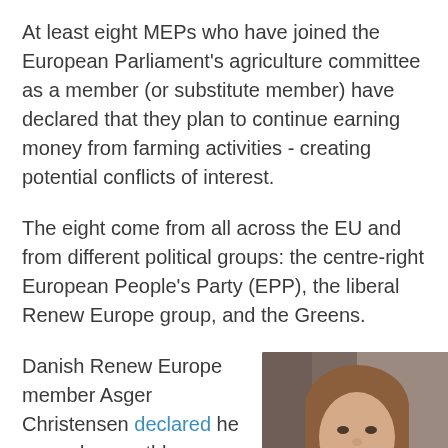At least eight MEPs who have joined the European Parliament's agriculture committee as a member (or substitute member) have declared that they plan to continue earning money from farming activities - creating potential conflicts of interest.
The eight come from all across the EU and from different political groups: the centre-right European People's Party (EPP), the liberal Renew Europe group, and the Greens.
Danish Renew Europe member Asger Christensen declared he earned a monthly €20,000 as a farmer before becoming an MEP,
[Figure (photo): Photo of a smiling woman with long brown hair wearing a purple apron, photographed indoors with a blurred background]